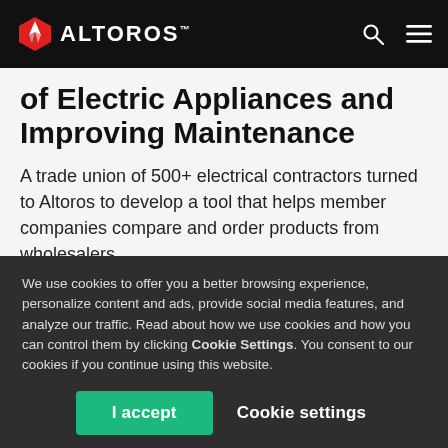ALTOROS
of Electric Appliances and Improving Maintenance
A trade union of 500+ electrical contractors turned to Altoros to develop a tool that helps member companies compare and order products from wholesalers.
We use cookies to offer you a better browsing experience, personalize content and ads, provide social media features, and analyze our traffic. Read about how we use cookies and how you can control them by clicking Cookie Settings. You consent to our cookies if you continue using this website.